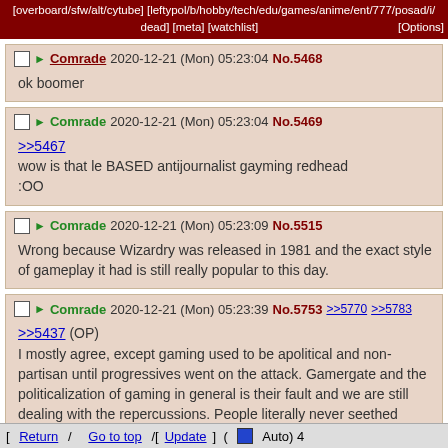[overboard/sfw/alt/cytube] [leftypol/b/hobby/tech/edu/games/anime/ent/777/posad/i/dead [meta] [watchlist] [Options]
Comrade 2020-12-21 (Mon) 05:23:04 No.5468
ok boomer
Comrade 2020-12-21 (Mon) 05:23:04 No.5469
>>5467
wow is that le BASED antijournalist gayming redhead :OO
Comrade 2020-12-21 (Mon) 05:23:09 No.5515
Wrong because Wizardry was released in 1981 and the exact style of gameplay it had is still really popular to this day.
Comrade 2020-12-21 (Mon) 05:23:39 No.5753 >>5770 >>5783
>>5437 (OP)
I mostly agree, except gaming used to be apolitical and non-partisan until progressives went on the attack. Gamergate and the politicalization of gaming in general is their fault and we are still dealing with the repercussions. People literally never seethed about women in games,
[ Return / Go to top /[Update] ( Auto) 4